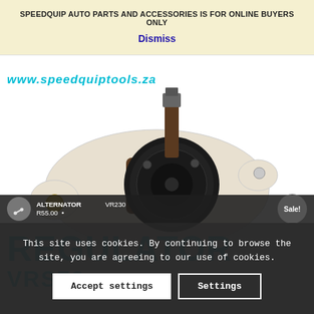SPEEDQUIP AUTO PARTS AND ACCESSORIES IS FOR ONLINE BUYERS ONLY
Dismiss
[Figure (photo): Alternator voltage regulator part (VRS70) - white plastic housing with black circular component and brass terminal]
REGULATOR
VRS70
This site uses cookies. By continuing to browse the site, you are agreeing to our use of cookies.
Accept settings
Settings
ALTERNATOR
VR230
R55.00
Sale!